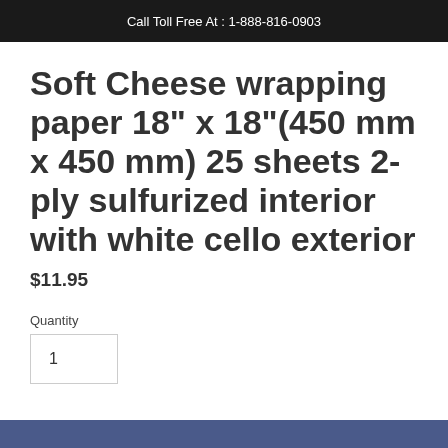Call Toll Free At : 1-888-816-0903
Soft Cheese wrapping paper 18" x 18"(450 mm x 450 mm) 25 sheets 2-ply sulfurized interior with white cello exterior
$11.95
Quantity
1